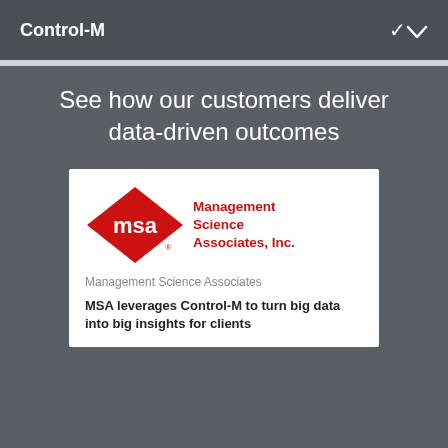Control-M
See how our customers deliver data-driven outcomes
[Figure (logo): MSA Management Science Associates, Inc. logo — red diamond shape with 'msa' text in white, and company name in red text to the right]
Management Science Associates
MSA leverages Control-M to turn big data into big insights for clients